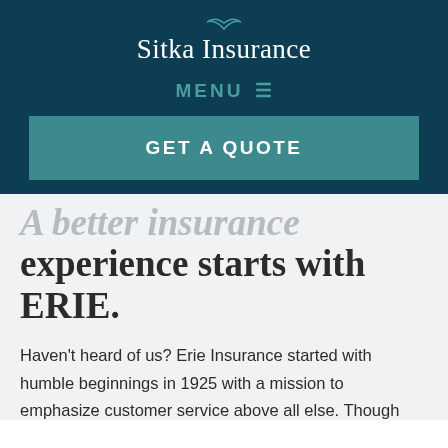Sitka Insurance
MENU ☰
[Figure (other): GET A QUOTE call-to-action button banner in teal color]
A better insurance experience starts with ERIE.
Haven't heard of us? Erie Insurance started with humble beginnings in 1925 with a mission to emphasize customer service above all else. Though we've grown to reach